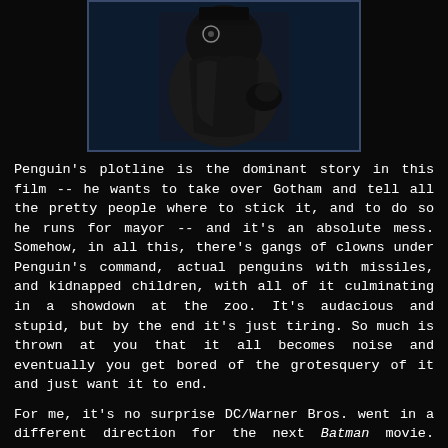[Figure (photo): A dark image of what appears to be the Penguin character in costume from Batman Returns, wearing a dark outfit with a gold/yellow emblem, against a dark navy background.]
Penguin's plotline is the dominant story in this film -- he wants to take over Gotham and tell all the pretty people where to stick it, and to do so he runs for mayor -- and it's an absolute mess. Somehow, in all this, there's gangs of clowns under Penguin's command, actual penguins with missiles, and kidnapped children, with all of it culminating in a showdown at the zoo. It's audacious and stupid, but by the end it's just tiring. So much is thrown at you that it all becomes noise and eventually you get bored of the grotesquery of it and just want it to end.
For me, it's no surprise DC/Warner Bros. went in a different direction for the next Batman movie. Burton got to push Batman just about as far as he could in every direction he wanted with this film, and it's hard to imagine him finding anything more gothicly awful than what he committed to celluloid in Batman Returns.
Still, as we'll see tomorrow with the next two films in the series, things could get a whole lot worse...